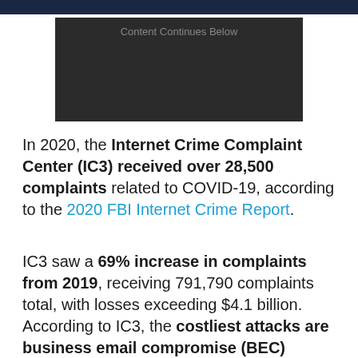[Figure (other): Dark advertisement placeholder box with text 'Content Continues Below']
In 2020, the Internet Crime Complaint Center (IC3) received over 28,500 complaints related to COVID-19, according to the 2020 FBI Internet Crime Report.
IC3 saw a 69% increase in complaints from 2019, receiving 791,790 complaints total, with losses exceeding $4.1 billion. According to IC3, the costliest attacks are business email compromise (BEC) schemes, with 19,369 total complaints and a loss of $1.8 billion.